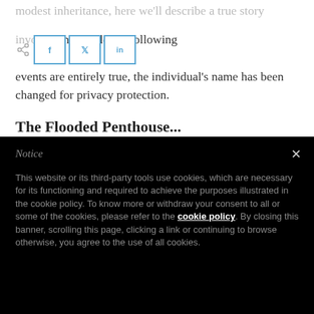modest inheritance, here we'll describe a true story involving a wage accident. While the following events are entirely true, the individual's name has been changed for privacy protection.
The Flooded Penthouse...
Notice

This website or its third-party tools use cookies, which are necessary for its functioning and required to achieve the purposes illustrated in the cookie policy. To know more or withdraw your consent to all or some of the cookies, please refer to the cookie policy. By closing this banner, scrolling this page, clicking a link or continuing to browse otherwise, you agree to the use of all cookies.